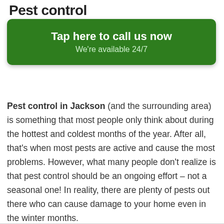Pest control
[Figure (infographic): Green call-to-action banner with text 'Tap here to call us now' and subtext 'We're available 24/7']
Pest control in Jackson (and the surrounding area) is something that most people only think about during the hottest and coldest months of the year. After all, that's when most pests are active and cause the most problems. However, what many people don't realize is that pest control should be an ongoing effort – not a seasonal one! In reality, there are plenty of pests out there who can cause damage to your home even in the winter months.